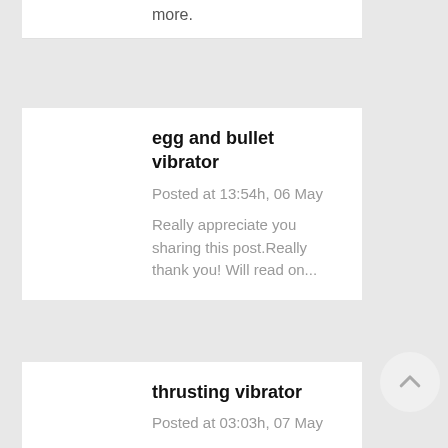more.
egg and bullet vibrator
Posted at 13:54h, 06 May
Really appreciate you sharing this post.Really thank you! Will read on...
thrusting vibrator
Posted at 03:03h, 07 May